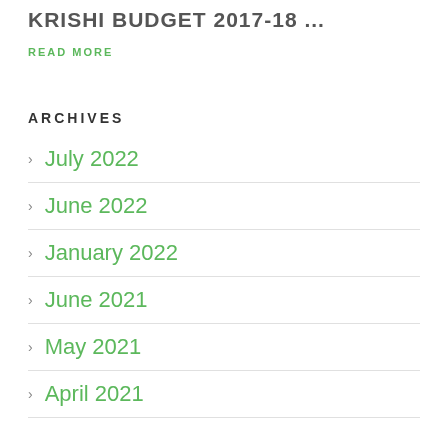KRISHI BUDGET 2017-18 ...
READ MORE
ARCHIVES
July 2022
June 2022
January 2022
June 2021
May 2021
April 2021